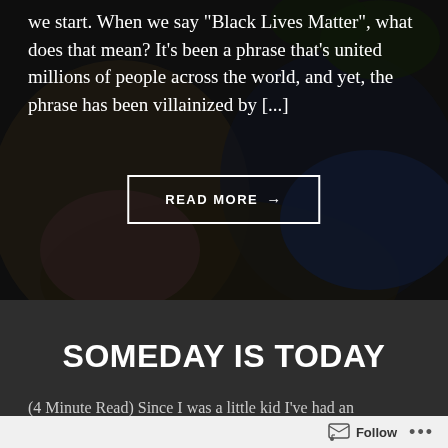[Figure (photo): Dark background image of people, partially obscured, with dark overlay. Top hero section of a blog page.]
we start. When we say 'Black Lives Matter', what does that mean? It’s been a phrase that’s united millions of people across the world, and yet, the phrase has been villainized by [...]
READ MORE →
SOMEDAY IS TODAY
(4 Minute Read) Since I was a little kid I’ve had an
Follow •••